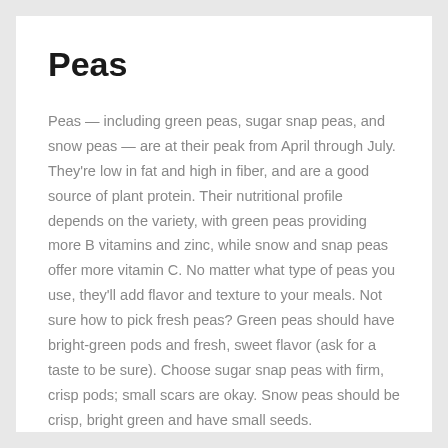Peas
Peas — including green peas, sugar snap peas, and snow peas — are at their peak from April through July. They're low in fat and high in fiber, and are a good source of plant protein. Their nutritional profile depends on the variety, with green peas providing more B vitamins and zinc, while snow and snap peas offer more vitamin C. No matter what type of peas you use, they'll add flavor and texture to your meals. Not sure how to pick fresh peas? Green peas should have bright-green pods and fresh, sweet flavor (ask for a taste to be sure). Choose sugar snap peas with firm, crisp pods; small scars are okay. Snow peas should be crisp, bright green and have small seeds.
For a terrific recipe using fresh green peas and